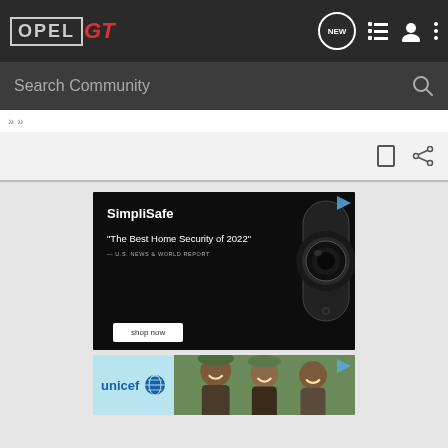OPEL GT — Navigation bar with NEW bubble, list icon, user icon, more icon
Search Community
[Figure (screenshot): SimpliSafe advertisement banner on black background with security camera image, text: SimpliSafe, 'The Best Home Security of 2022' — U.S. NEWS & WORLD REPORT, with shop now button]
[Figure (screenshot): UNICEF advertisement banner with unicef logo and photo of smiling children]